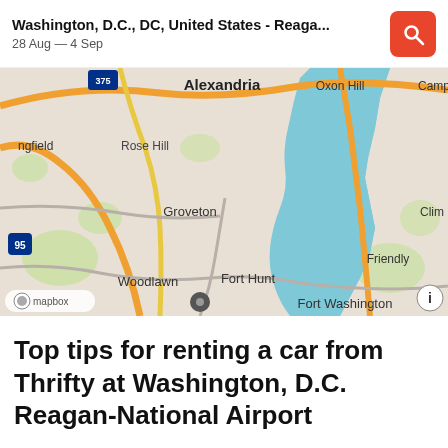Washington, D.C., DC, United States - Reaga...
28 Aug — 4 Sep
[Figure (map): Map showing the Washington D.C. area including Alexandria, Oxon Hill, Camp Springs, ngfield (Springfield), Rose Hill, Groveton, Clim (Clinton), Friendly, Woodlawn, Fort Hunt, Fort Washington neighborhoods. Features the Potomac River in blue, roads in orange and yellow, green park areas, and I-95 highway marker. Mapbox attribution and info button visible.]
Top tips for renting a car from Thrifty at Washington, D.C. Reagan-National Airport